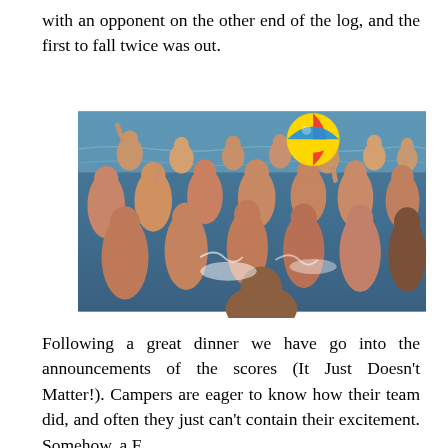with an opponent on the other end of the log, and the first to fall twice was out.
[Figure (photo): A large group of boys playing in a lake or body of water, splashing around with a colorful beach ball (yellow, blue, red) in the air above them. The scene appears to be a summer camp water activity.]
Following a great dinner we have go into the announcements of the scores (It Just Doesn't Matter!). Campers are eager to know how their team did, and often they just can't contain their excitement. Somehow, a F